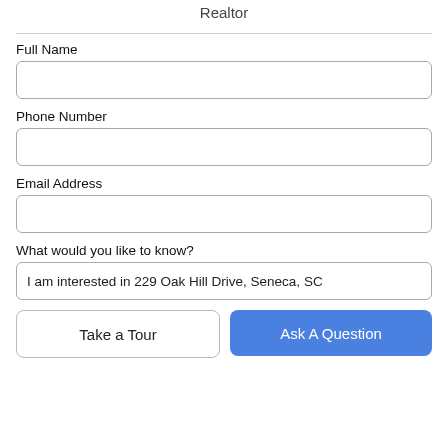Realtor
Full Name
Phone Number
Email Address
What would you like to know?
I am interested in 229 Oak Hill Drive, Seneca, SC
Take a Tour
Ask A Question